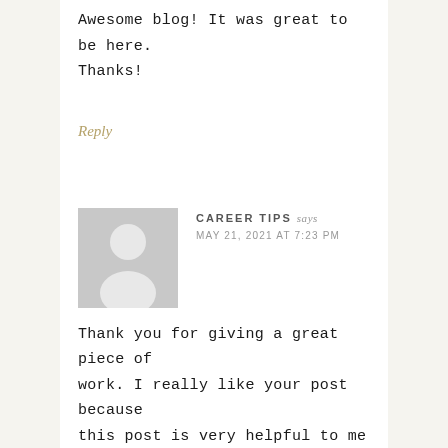Awesome blog! It was great to be here. Thanks!
Reply
[Figure (illustration): Generic user avatar placeholder — grey silhouette of a person on a light grey square background]
CAREER TIPS says
MAY 21, 2021 AT 7:23 PM
Thank you for giving a great piece of work. I really like your post because this post is very helpful to me please keep it up!
Latest Jobs in Nigeria